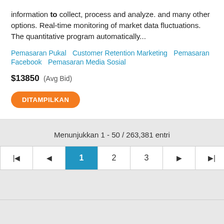information to collect, process and analyze. and many other options. Real-time monitoring of market data fluctuations. The quantitative program automatically...
Pemasaran Pukal   Customer Retention Marketing   Pemasaran Facebook   Pemasaran Media Sosial
$13850  (Avg Bid)
DITAMPILKAN
Menunjukkan 1 - 50 / 263,381 entri
Pagination: |< < 1 2 3 > >|